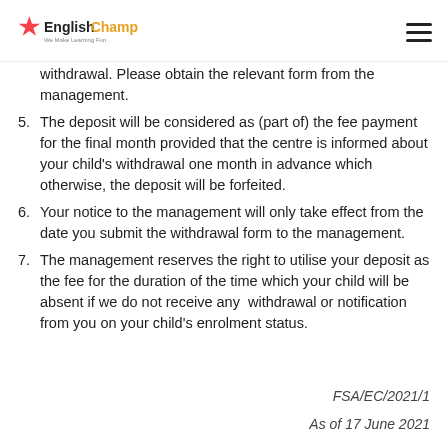English Champ — We Make Learning Fun
withdrawal. Please obtain the relevant form from the management.
5. The deposit will be considered as (part of) the fee payment for the final month provided that the centre is informed about your child's withdrawal one month in advance which otherwise, the deposit will be forfeited.
6. Your notice to the management will only take effect from the date you submit the withdrawal form to the management.
7. The management reserves the right to utilise your deposit as the fee for the duration of the time which your child will be absent if we do not receive any withdrawal or notification from you on your child's enrolment status.
FSA/EC/2021/1
As of 17 June 2021